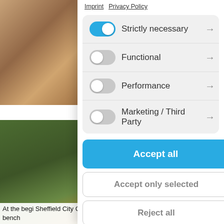[Figure (screenshot): Cookie consent modal overlay on a webpage. Shows toggle switches for Strictly necessary (on/blue), Functional (off), Performance (off), Marketing / Third Party (off). Below are buttons: Accept all (blue), Accept only selected (white), Reject all (white). Background shows two photos on the left side and bottom text about Sheffield City Council.]
Imprint   Privacy Policy
Strictly necessary →
Functional →
Performance →
Marketing / Third Party →
Accept all
Accept only selected
Reject all
At the begi Sheffield City Council ranger Chris Roberts erected a memorial bench